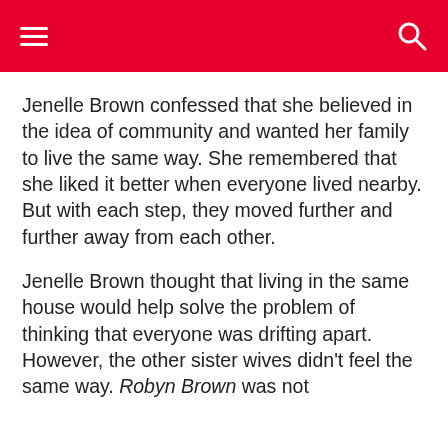[navigation header with menu and search icons]
Jenelle Brown confessed that she believed in the idea of community and wanted her family to live the same way. She remembered that she liked it better when everyone lived nearby. But with each step, they moved further and further away from each other.
Jenelle Brown thought that living in the same house would help solve the problem of thinking that everyone was drifting apart. However, the other sister wives didn't feel the same way. Robyn Brown was not